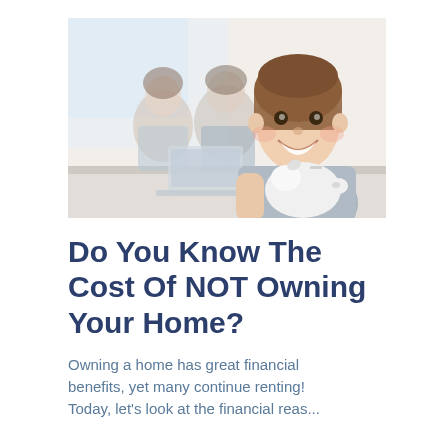[Figure (photo): A smiling young girl holding a white piggy bank in the foreground, with two adults (a man and a woman) working on a laptop in the soft-focus background.]
Do You Know The Cost Of NOT Owning Your Home?
Owning a home has great financial benefits, yet many continue renting! Today, let's look at the financial reas...